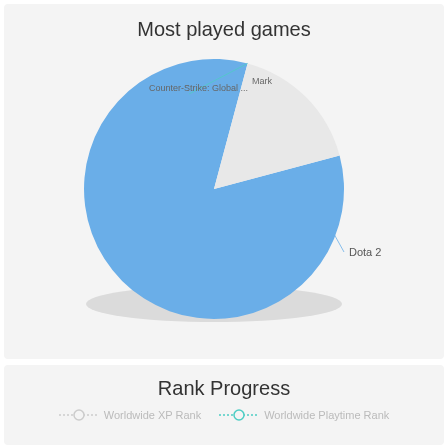Most played games
[Figure (pie-chart): Most played games]
Rank Progress
Worldwide XP Rank   Worldwide Playtime Rank